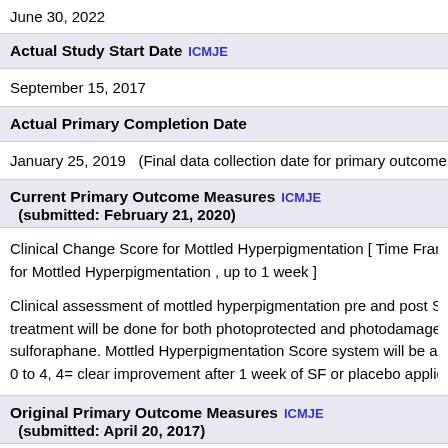June 30, 2022
Actual Study Start Date ICMJE
September 15, 2017
Actual Primary Completion Date
January 25, 2019   (Final data collection date for primary outcome mea...
Current Primary Outcome Measures ICMJE (submitted: February 21, 2020)
Clinical Change Score for Mottled Hyperpigmentation [ Time Frame: C... for Mottled Hyperpigmentation , up to 1 week ] Clinical assessment of mottled hyperpigmentation pre and post Su... treatment will be done for both photoprotected and photodamaged... sulforaphane. Mottled Hyperpigmentation Score system will be ap... 0 to 4, 4= clear improvement after 1 week of SF or placebo applic...
Original Primary Outcome Measures ICMJE (submitted: April 20, 2017)